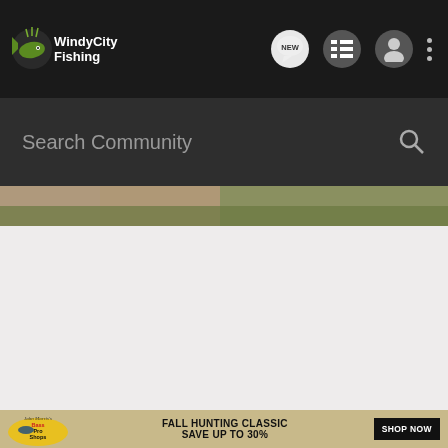[Figure (screenshot): Windy City Fishing website navigation bar with logo, search bar, and Bass Pro Shops advertisement banner]
Windy City Fishing
Search Community
[Figure (photo): Partial outdoor photo showing grass and possibly a person or animal, cropped at top]
[Figure (other): Light gray content area (blank/loading)]
[Figure (infographic): Bass Pro Shops advertisement: Fall Hunting Classic Save Up To 30% Shop Now]